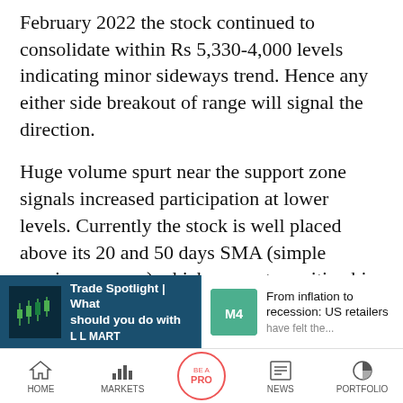February 2022 the stock continued to consolidate within Rs 5,330-4,000 levels indicating minor sideways trend. Hence any either side breakout of range will signal the direction.
Huge volume spurt near the support zone signals increased participation at lower levels. Currently the stock is well placed above its 20 and 50 days SMA (simple moving average) which supports positive bias on short term charts.
The daily and weekly strength indicator RSI (relative strength index) has turned bullish
[Figure (screenshot): Blue banner ad: Trade Spotlight | What should you do with L L MART]
[Figure (screenshot): White banner ad: From inflation to recession: US retailers have felt the...]
[Figure (screenshot): Bottom navigation bar with HOME, MARKETS, BE A PRO, NEWS, PORTFOLIO icons]